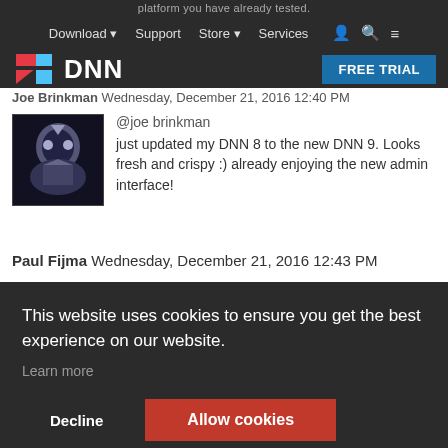platform you have already tested.
Download  Support  Store  Services
[Figure (logo): DNN logo with red and blue D icon and white DNN wordmark on dark background, with FREE TRIAL button]
Joe Brinkman Wednesday, December 21, 2016 12:40 PM
[Figure (photo): Dark robotic/alien avatar image]
@joe brinkman
just updated my DNN 8 to the new DNN 9. Looks fresh and crispy :) already enjoying the new admin interface!
Paul Fijma Wednesday, December 21, 2016 12:43 PM
This website uses cookies to ensure you get the best experience on our website.
Learn more
Decline  Allow cookies
ead.
rces
I will be spending the next two work weeks deciding